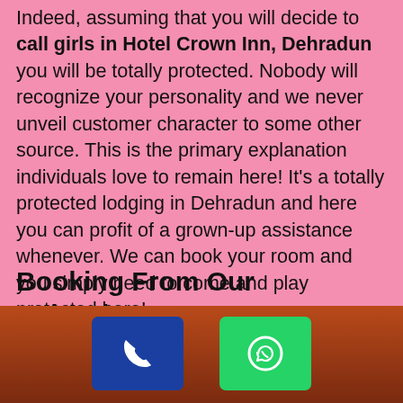Indeed, assuming that you will decide to call girls in Hotel Crown Inn, Dehradun you will be totally protected. Nobody will recognize your personality and we never unveil customer character to some other source. This is the primary explanation individuals love to remain here! It's a totally protected lodging in Dehradun and here you can profit of a grown-up assistance whenever. We can book your room and you simply need to come and play protected here!
Booking From Our Dehradun Escorts Agency Are Friendly!
Indeed! This is another best thing you will get from this assistance. Accompanies are somebody who acts